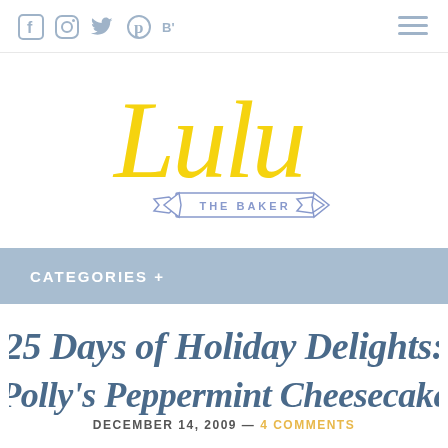[Figure (logo): Social media icons: Facebook, Instagram, Twitter, Pinterest, Bloglovin]
[Figure (logo): Hamburger menu icon (three horizontal lines) in steel blue]
[Figure (logo): Lulu the Baker logo - yellow cursive script 'Lulu' above a ribbon banner reading 'THE BAKER' in periwinkle blue]
CATEGORIES +
25 Days of Holiday Delights: Polly's Peppermint Cheesecake
DECEMBER 14, 2009 — 4 COMMENTS